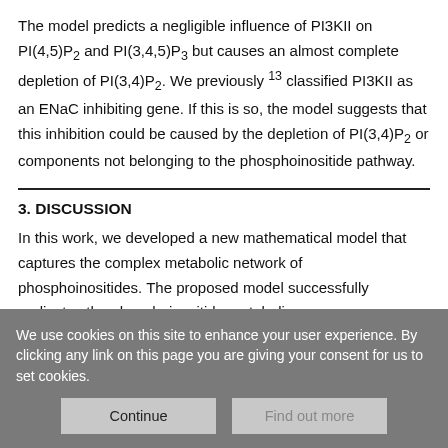The model predicts a negligible influence of PI3KII on PI(4,5)P2 and PI(3,4,5)P3 but causes an almost complete depletion of PI(3,4)P2. We previously 13 classified PI3KII as an ENaC inhibiting gene. If this is so, the model suggests that this inhibition could be caused by the depletion of PI(3,4)P2 or components not belonging to the phosphoinositide pathway.
3. DISCUSSION
In this work, we developed a new mathematical model that captures the complex metabolic network of phosphoinositides. The proposed model successfully replicates the phosphoinositide metabolism...
We use cookies on this site to enhance your user experience. By clicking any link on this page you are giving your consent for us to set cookies.